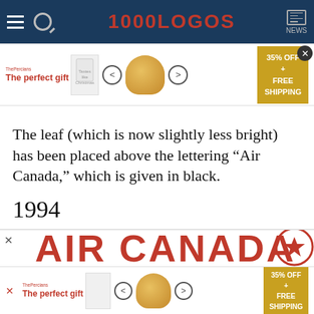1000LOGOS NEWS
[Figure (screenshot): Advertisement banner: 'The perfect gift' with food image, arrows, and '35% OFF + FREE SHIPPING' gold CTA button]
The leaf (which is now slightly less bright) has been placed above the lettering “Air Canada,” which is given in black.
1994
[Figure (screenshot): Partial Air Canada logo text in red, with roundel/maple leaf circle badge at right]
[Figure (screenshot): Bottom advertisement banner: 'The perfect gift' with food image, arrows, and '35% OFF + FREE SHIPPING' gold CTA button]